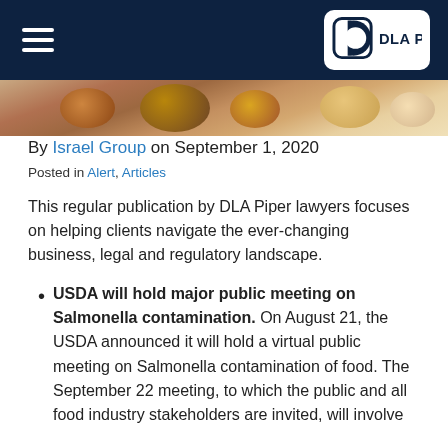[Figure (logo): DLA Piper logo in white rounded square on dark navy header bar, with hamburger menu icon on the left]
[Figure (photo): Partial photo of food items (eggs, onions, other produce) visible at top of content area]
By Israel Group on September 1, 2020
Posted in Alert, Articles
This regular publication by DLA Piper lawyers focuses on helping clients navigate the ever-changing business, legal and regulatory landscape.
USDA will hold major public meeting on Salmonella contamination. On August 21, the USDA announced it will hold a virtual public meeting on Salmonella contamination of food. The September 22 meeting, to which the public and all food industry stakeholders are invited, will involve